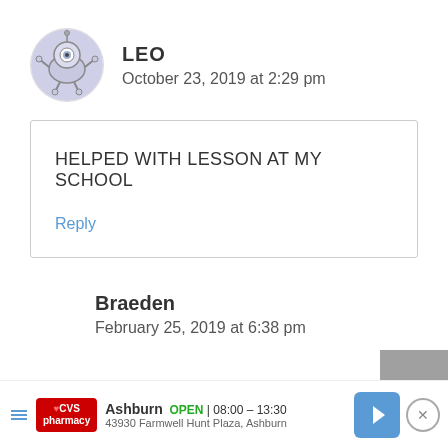[Figure (illustration): Circular avatar of user LEO showing a cartoon monster/robot icon on a light purple/gray background]
LEO
October 23, 2019 at 2:29 pm
HELPED WITH LESSON AT MY SCHOOL
Reply
Braeden
February 25, 2019 at 6:38 pm
Ashburn  OPEN  08:00 – 13:30  43930 Farmwell Hunt Plaza, Ashburn